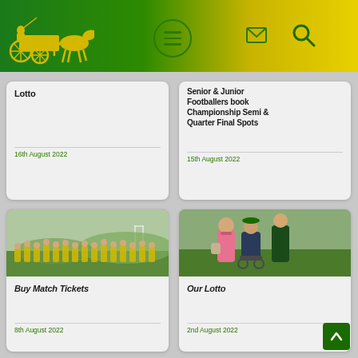GAA Club website header with horse and cart logo, hamburger menu, email icon, search icon
Lotto
16th August 2022
Senior & Junior Footballers book Championship Semi & Quarter Final Spots
15th August 2022
[Figure (photo): Group photo of youth GAA football team in green and yellow jerseys on a pitch]
Buy Match Tickets
8th August 2022
[Figure (photo): Three people standing outdoors on a GAA pitch, one in a wheelchair wearing a cap]
Our Lotto
2nd August 2022